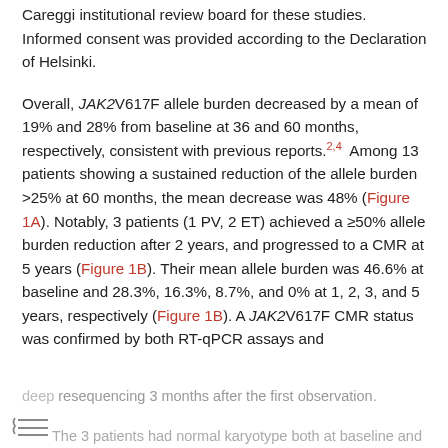Careggi institutional review board for these studies. Informed consent was provided according to the Declaration of Helsinki.
Overall, JAK2V617F allele burden decreased by a mean of 19% and 28% from baseline at 36 and 60 months, respectively, consistent with previous reports.2,4 Among 13 patients showing a sustained reduction of the allele burden >25% at 60 months, the mean decrease was 48% (Figure 1A). Notably, 3 patients (1 PV, 2 ET) achieved a ≥50% allele burden reduction after 2 years, and progressed to a CMR at 5 years (Figure 1B). Their mean allele burden was 46.6% at baseline and 28.3%, 16.3%, 8.7%, and 0% at 1, 2, 3, and 5 years, respectively (Figure 1B). A JAK2V617F CMR status was confirmed by both RT-qPCR assays and
deep resequencing 3 months after the first observation. The 3 patients had normal karyotype both at baseline and